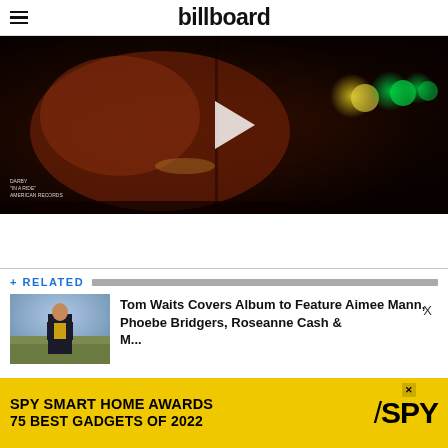billboard
[Figure (photo): Dark music video still showing a person playing guitar in low light with colorful stage lights (green, yellow) in the background. A play button overlay is visible. Text in lower left reads album/artist info in small white text.]
+ RELATED
[Figure (photo): Thumbnail photo of Tom Waits standing in a field wearing a dark jacket and yellow shirt.]
Tom Waits Covers Album to Feature Aimee Mann, Phoebe Bridgers, Roseanne Cash & More
[Figure (advertisement): Yellow advertisement banner for SPY Smart Home Awards: '75 BEST GADGETS OF 2022' with SPY logo.]